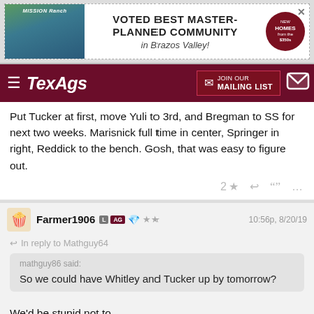[Figure (other): Mission Ranch advertisement banner: Voted Best Master-Planned Community in Brazos Valley]
TexAgs — JOIN OUR MAILING LIST
Put Tucker at first, move Yuli to 3rd, and Bregman to SS for next two weeks. Marisnick full time in center, Springer in right, Reddick to the bench. Gosh, that was easy to figure out.
Farmer1906  L  AG  ★★  10:56p, 8/20/19
In reply to Mathguy64
mathguy86 said:
So we could have Whitley and Tucker up by tomorrow?
We'd be stupid not to.
bearkatag15  L  AG  ★★  10:59p, 8/20/19